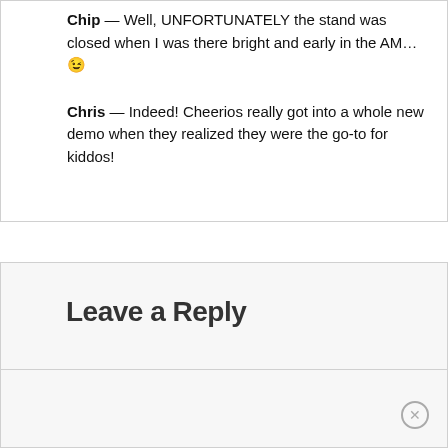Chip — Well, UNFORTUNATELY the stand was closed when I was there bright and early in the AM… 😉
Chris — Indeed! Cheerios really got into a whole new demo when they realized they were the go-to for kiddos!
Leave a Reply
Your email address will not be published. Required fields are marked *
Comment: